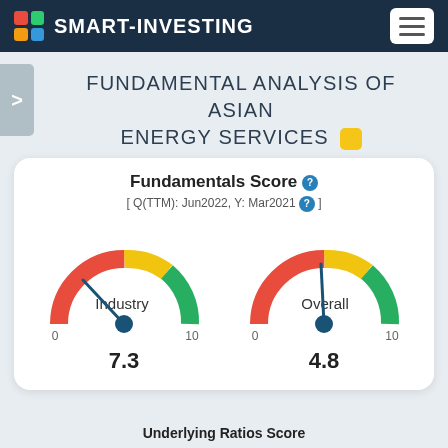SMART-INVESTING
FUNDAMENTAL ANALYSIS OF ASIAN ENERGY SERVICES
Fundamentals Score
[ Q(TTM): Jun2022, Y: Mar2021 ]
[Figure (other): Two gauge/speedometer dials. Left gauge labeled 'Industry' with needle pointing to approximately 7.3 on a 0-10 scale, value shown as 7.3. Right gauge labeled 'Overall' with needle pointing to approximately 4.8 on a 0-10 scale, value shown as 4.8. Both gauges colored red on left, yellow in upper middle, and green on right.]
Underlying Ratios Score